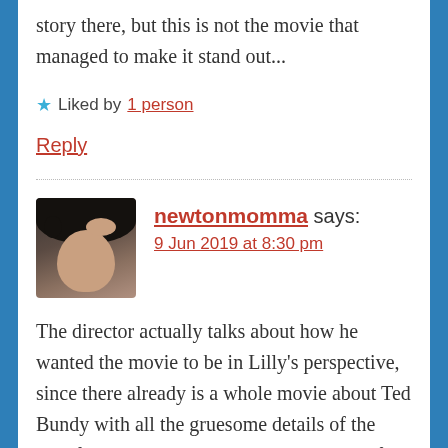story there, but this is not the movie that managed to make it stand out...
★ Liked by 1 person
Reply
newtonmomma says:
9 Jun 2019 at 8:30 pm
The director actually talks about how he wanted the movie to be in Lilly's perspective, since there already is a whole movie about Ted Bundy with all the gruesome details of the horrific crimes he committed. I do admit, if you